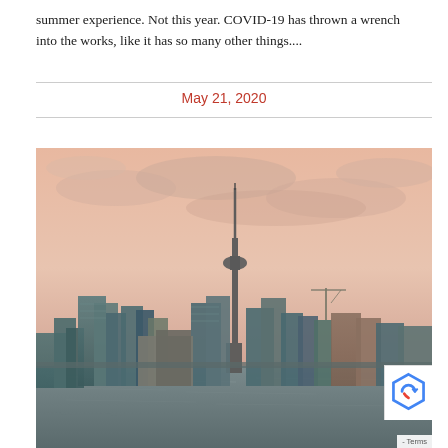summer experience. Not this year. COVID-19 has thrown a wrench into the works, like it has so many other things....
May 21, 2020
[Figure (photo): Toronto city skyline photographed from the water at sunset/dusk, with warm pink and orange sky tones, CN Tower prominent in the center, multiple skyscrapers and high-rise buildings reflecting teal/glass colors, water in the foreground with ripples.]